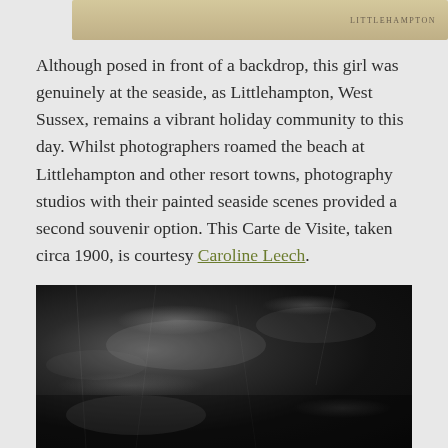[Figure (photo): Top portion of a Carte de Visite showing the back of a photographic card from a studio in Littlehampton, with decorative script and text reading LITTLEHAMPTON]
Although posed in front of a backdrop, this girl was genuinely at the seaside, as Littlehampton, West Sussex, remains a vibrant holiday community to this day. Whilst photographers roamed the beach at Littlehampton and other resort towns, photography studios with their painted seaside scenes provided a second souvenir option. This Carte de Visite, taken circa 1900, is courtesy Caroline Leech.
[Figure (photo): A dark, scratched and aged black-and-white photograph showing a seascape or beach scene, heavily deteriorated with light areas visible in the sky and what appears to be water or sand below]